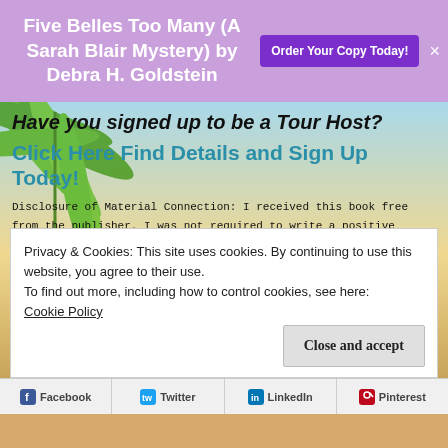Five Belles Too Many (A Sarah Blair Mystery) by Debra H. Goldstein
Order Your Copy Today!
Have you signed up to be a Tour Host?
Click Here Find Details and Sign Up Today!
Disclosure of Material Connection: I received this book free from the publisher. I was not required to write a positive review. The opinions I have expressed are my own. Receiving a complimentary copy in no way reflected my review of this book. I am disclosing
Privacy & Cookies: This site uses cookies. By continuing to use this website, you agree to their use.
To find out more, including how to control cookies, see here:
Cookie Policy
Close and accept
Facebook  Twitter  LinkedIn  Pinterest